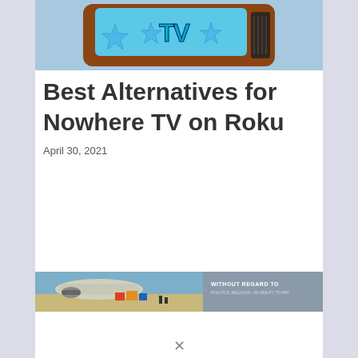[Figure (illustration): Stylized cartoon TV set with blue stars and 'TV' text in light blue on a brown retro television, with a dark speaker grille on the right side. Background is light blue/grey.]
Best Alternatives for Nowhere TV on Roku
April 30, 2021
[Figure (photo): Banner advertisement showing a cargo airplane being loaded on a tarmac, with an overlay panel on the right reading 'WITHOUT REGARD TO POLITICS, RELIGION, OR ABILITY TO PAY'.]